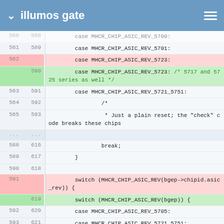illumos gate
[Figure (screenshot): Code diff showing changes to illumos gate source file. Lines show case statements for MHCR_CHIP_ASIC_REV values. Red lines are deleted, green lines are added.]